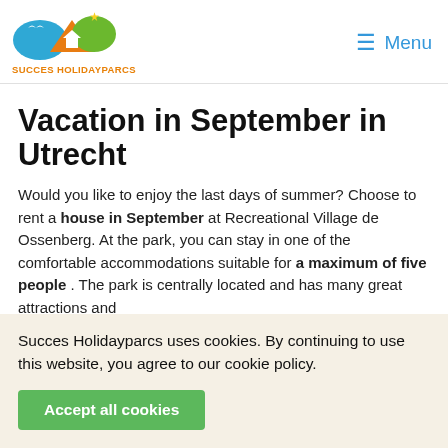SUCCES HOLIDAYPARCS | Menu
Vacation in September in Utrecht
Would you like to enjoy the last days of summer? Choose to rent a house in September at Recreational Village de Ossenberg. At the park, you can stay in one of the comfortable accommodations suitable for a maximum of five people . The park is centrally located and has many great attractions and cities nearby. This way you will be in the cities of
Succes Holidayparcs uses cookies. By continuing to use this website, you agree to our cookie policy.
Accept all cookies